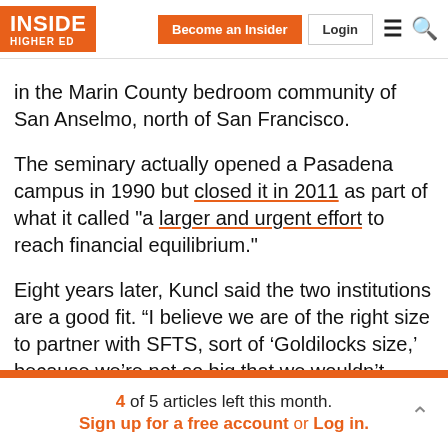INSIDE HIGHER ED | Become an Insider | Login
in the Marin County bedroom community of San Anselmo, north of San Francisco.
The seminary actually opened a Pasadena campus in 1990 but closed it in 2011 as part of what it called "a larger and urgent effort to reach financial equilibrium."
Eight years later, Kuncl said the two institutions are a good fit. “I believe we are of the right size to partner with SFTS, sort of ‘Goldilocks size,’ because we’re not so big that we wouldn’t need them or want them -- and we’re not so small that we wouldn’t be financially feasible to embed
4 of 5 articles left this month. Sign up for a free account or Log in.